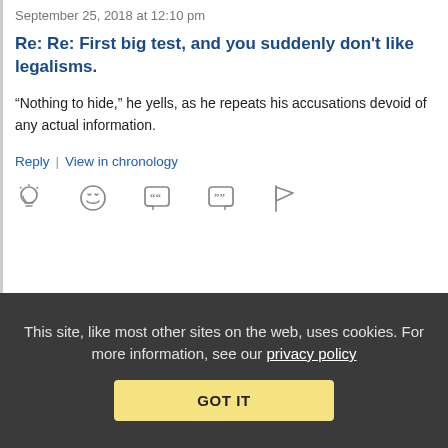September 25, 2018 at 12:10 pm
Re: Re: First big test, and you suddenly don't like legalisms.
“Nothing to hide,” he yells, as he repeats his accusations devoid of any actual information.
Reply | View in chronology
[Figure (infographic): Row of 5 reaction/action icons: lightbulb, laughing emoji, quote bubble, quote bubble variant, flag]
[Figure (infographic): Stack/pages icon with [3] label indicating nested comments]
This site, like most other sites on the web, uses cookies. For more information, see our privacy policy
GOT IT